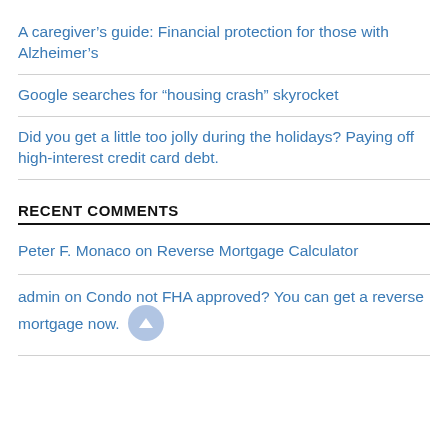A caregiver's guide: Financial protection for those with Alzheimer's
Google searches for “housing crash” skyrocket
Did you get a little too jolly during the holidays? Paying off high-interest credit card debt.
RECENT COMMENTS
Peter F. Monaco on Reverse Mortgage Calculator
admin on Condo not FHA approved? You can get a reverse mortgage now.